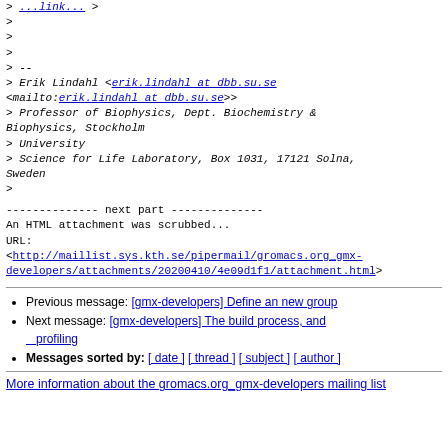> ...link...
>
>
>
> --
> Erik Lindahl <erik.lindahl at dbb.su.se <mailto:erik.lindahl at dbb.su.se>>
> Professor of Biophysics, Dept. Biochemistry & Biophysics, Stockholm
> University
> Science for Life Laboratory, Box 1031, 17121 Solna, Sweden
>
-------------- next part --------------
An HTML attachment was scrubbed...
URL:
<http://maillist.sys.kth.se/pipermail/gromacs.org_gmx-developers/attachments/20200410/4e09d1f1/attachment.html>
Previous message: [gmx-developers] Define an new group
Next message: [gmx-developers] The build process, and profiling
Messages sorted by: [ date ] [ thread ] [ subject ] [ author ]
More information about the gromacs.org_gmx-developers mailing list